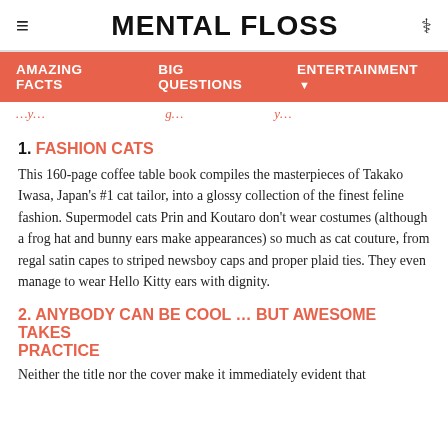≡  MENTAL FLOSS  ♿
AMAZING FACTS  BIG QUESTIONS  ENTERTAINMENT ▼
…y…g…y…
1. FASHION CATS
This 160-page coffee table book compiles the masterpieces of Takako Iwasa, Japan's #1 cat tailor, into a glossy collection of the finest feline fashion. Supermodel cats Prin and Koutaro don't wear costumes (although a frog hat and bunny ears make appearances) so much as cat couture, from regal satin capes to striped newsboy caps and proper plaid ties. They even manage to wear Hello Kitty ears with dignity.
2. ANYBODY CAN BE COOL … BUT AWESOME TAKES PRACTICE
Neither the title nor the cover make it immediately evident that